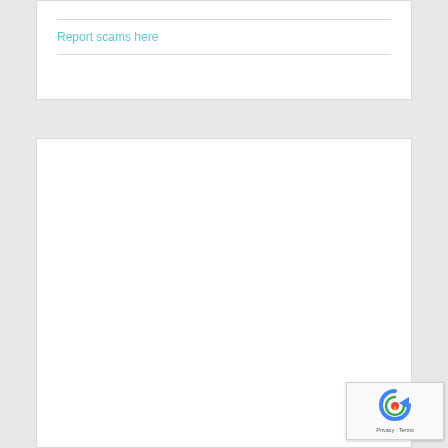Report scams here
[Figure (screenshot): Empty white card/panel below the report scams link]
[Figure (other): reCAPTCHA badge with Privacy and Terms text in bottom right corner]